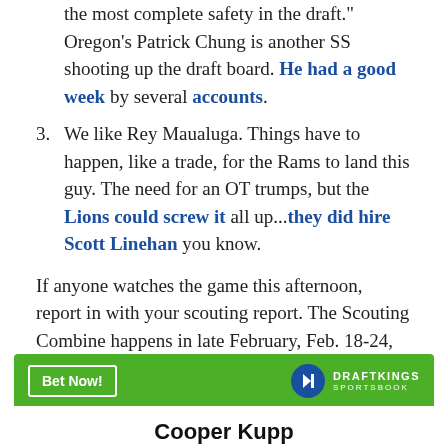the most complete safety in the draft." Oregon's Patrick Chung is another SS shooting up the draft board. He had a good week by several accounts.
3. We like Rey Maualuga. Things have to happen, like a trade, for the Rams to land this guy. The need for an OT trumps, but the Lions could screw it all up...they did hire Scott Linehan you know.
If anyone watches the game this afternoon, report in with your scouting report. The Scouting Combine happens in late February, Feb. 18-24, and free agency opens up on Feb. 27. Get ready for a wild offseason.
[Figure (other): DraftKings Sportsbook advertisement banner with green background, 'Bet Now!' button, DraftKings Sportsbook logo, and white box below with 'Cooper Kupp' text in bold.]